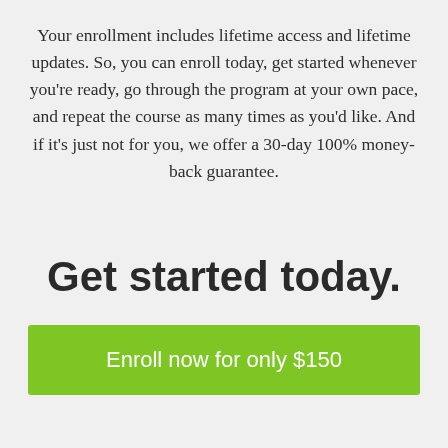Your enrollment includes lifetime access and lifetime updates. So, you can enroll today, get started whenever you're ready, go through the program at your own pace, and repeat the course as many times as you'd like. And if it's just not for you, we offer a 30-day 100% money-back guarantee.
Get started today.
Enroll now for only $150